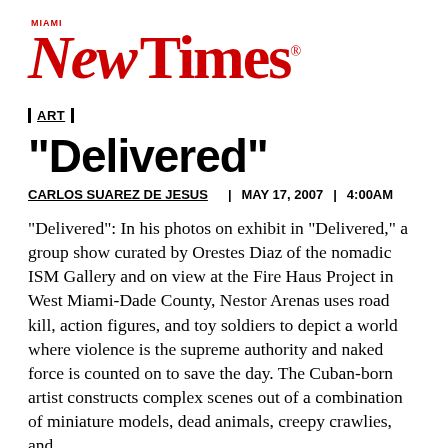[Figure (logo): Miami New Times logo in red italic serif font]
| ART |
"Delivered"
CARLOS SUAREZ DE JESUS  |  MAY 17, 2007  |  4:00AM
"Delivered": In his photos on exhibit in "Delivered," a group show curated by Orestes Diaz of the nomadic ISM Gallery and on view at the Fire Haus Project in West Miami-Dade County, Nestor Arenas uses road kill, action figures, and toy soldiers to depict a world where violence is the supreme authority and naked force is counted on to save the day. The Cuban-born artist constructs complex scenes out of a combination of miniature models, dead animals, creepy crawlies, and